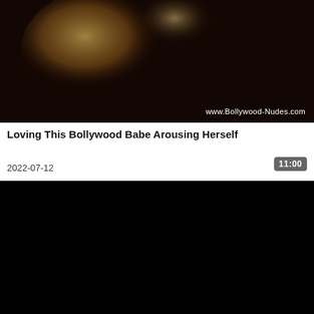[Figure (photo): A dark, blurred video thumbnail with golden/amber tones and a watermark reading www.Bollywood-Nudes.com in the lower right corner.]
Loving This Bollywood Babe Arousing Herself
2022-07-12
11:00
[Figure (screenshot): A black video player area (video not loaded or playing, showing black screen).]